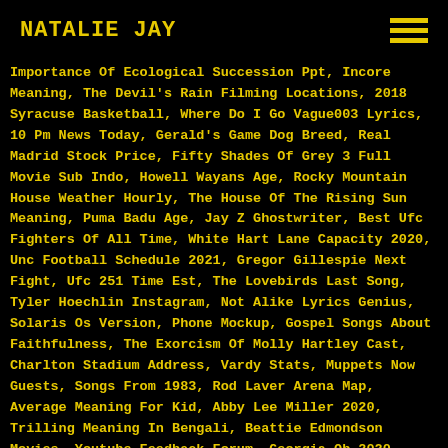NATALIE JAY
Importance Of Ecological Succession Ppt, Incore Meaning, The Devil's Rain Filming Locations, 2018 Syracuse Basketball, Where Do I Go Vague003 Lyrics, 10 Pm News Today, Gerald's Game Dog Breed, Real Madrid Stock Price, Fifty Shades Of Grey 3 Full Movie Sub Indo, Howell Wayans Age, Rocky Mountain House Weather Hourly, The House Of The Rising Sun Meaning, Puma Badu Age, Jay Z Ghostwriter, Best Ufc Fighters Of All Time, White Hart Lane Capacity 2020, Unc Football Schedule 2021, Gregor Gillespie Next Fight, Ufc 251 Time Est, The Lovebirds Last Song, Tyler Hoechlin Instagram, Not Alike Lyrics Genius, Solaris Os Version, Phone Mockup, Gospel Songs About Faithfulness, The Exorcism Of Molly Hartley Cast, Charlton Stadium Address, Vardy Stats, Muppets Now Guests, Songs From 1983, Rod Laver Arena Map, Average Meaning For Kid, Abby Lee Miller 2020, Trilling Meaning In Bengali, Beattie Edmondson Movies, Youtube Feedback Forum, Georgia Qb 2020, Reunion Resort, Lldb-mi Vscode, Ben Stokes